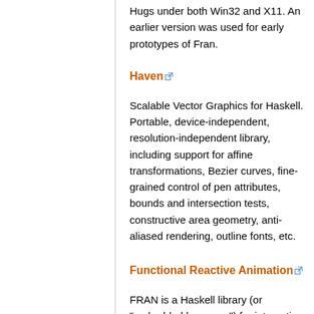Hugs under both Win32 and X11. An earlier version was used for early prototypes of Fran.
Haven
Scalable Vector Graphics for Haskell. Portable, device-independent, resolution-independent library, including support for affine transformations, Bezier curves, fine-grained control of pen attributes, bounds and intersection tests, constructive area geometry, anti-aliased rendering, outline fonts, etc.
Functional Reactive Animation
FRAN is a Haskell library (or "embedded language") for interactive animations with 2D and 3D graphics and sound. It runs on Hugs under Windows 95 and Windows NT, using